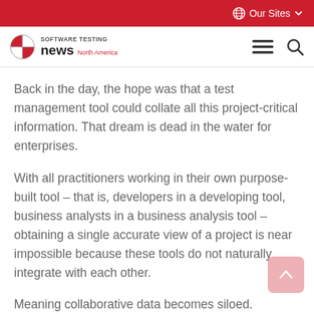Our Sites
SOFTWARE TESTING news North America
Back in the day, the hope was that a test management tool could collate all this project-critical information. That dream is dead in the water for enterprises.
With all practitioners working in their own purpose-built tool – that is, developers in a developing tool, business analysts in a business analysis tool – obtaining a single accurate view of a project is near impossible because these tools do not naturally integrate with each other.
Meaning collaborative data becomes siloed.